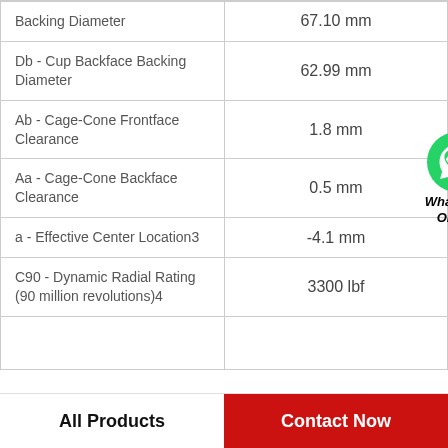| Parameter | Value |
| --- | --- |
| Backing Diameter | 67.10 mm |
| Db - Cup Backface Backing Diameter | 62.99 mm |
| Ab - Cage-Cone Frontface Clearance | 1.8 mm |
| Aa - Cage-Cone Backface Clearance | 0.5 mm |
| a - Effective Center Location3 | -4.1 mm |
| C90 - Dynamic Radial Rating (90 million revolutions)4 | 3300 lbf |
|  |  |
[Figure (logo): WhatsApp Online badge with green WhatsApp icon and text 'WhatsApp Online']
All Products | Contact Now